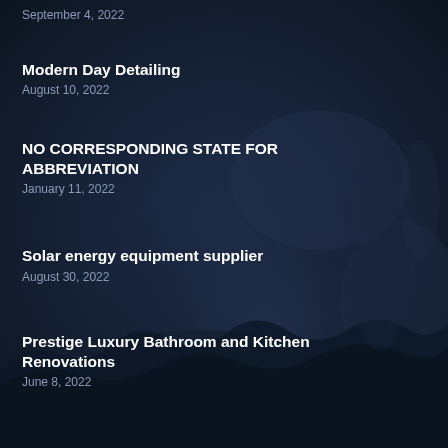September 4, 2022
Modern Day Detailing
August 10, 2022
NO CORRESPONDING STATE FOR ABBREVIATION
January 11, 2022
Solar energy equipment supplier
August 30, 2022
Prestige Luxury Bathroom and Kitchen Renovations
June 8, 2022